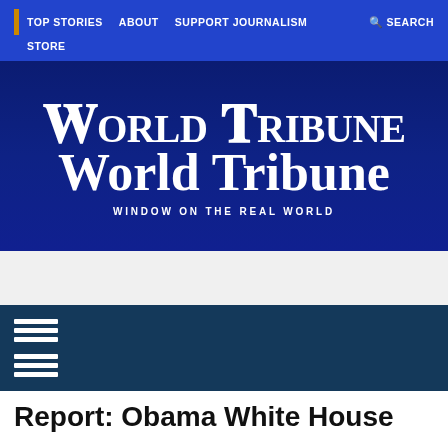TOP STORIES  ABOUT  SUPPORT JOURNALISM  STORE  SEARCH
[Figure (logo): World Tribune logo — blackletter masthead text 'World Tribune' with subtitle 'WINDOW ON THE REAL WORLD' on dark navy background]
Report: Obama White House